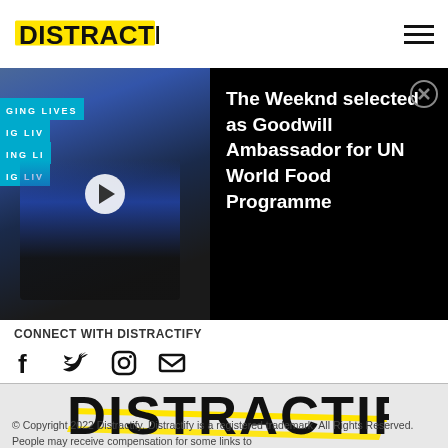DISTRACTIFY
[Figure (photo): Two men standing in front of a blue banner with text 'CHANGING LIVES', with a video play button overlay. This is a notification/advertisement banner about The Weeknd being selected as Goodwill Ambassador for UN World Food Programme.]
The Weeknd selected as Goodwill Ambassador for UN World Food Programme
CONNECT with Distractify
[Figure (logo): DISTRACTIFY logo with yellow brush stroke background, large bold black text]
© Copyright 2022 Distractify. Distractify is a registered trademark. All Rights Reserved. People may receive compensation for some links to